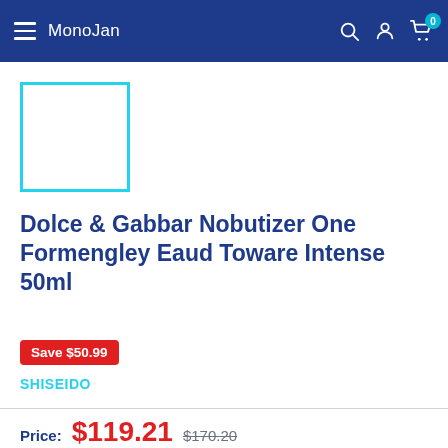MonoJan
[Figure (other): Product image placeholder — empty white box with cyan/teal border]
Dolce & Gabbar Nobutizer One Formengley Eaud Toware Intense 50ml
Save $50.99
SHISEIDO
Price: $119.21  $170.20